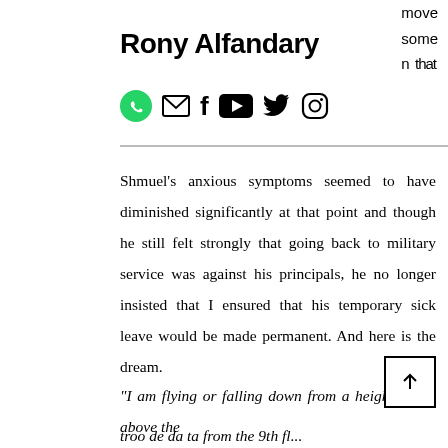Rony Alfandary
move some n that
Shmuel's anxious symptoms seemed to have diminished significantly at that point and though he still felt strongly that going back to military service was against his principals, he no longer insisted that I ensured that his temporary sick leave would be made permanent. And here is the dream.
“I am flying or falling down from a height, away above the s
troo de da ta from the 9th fl...